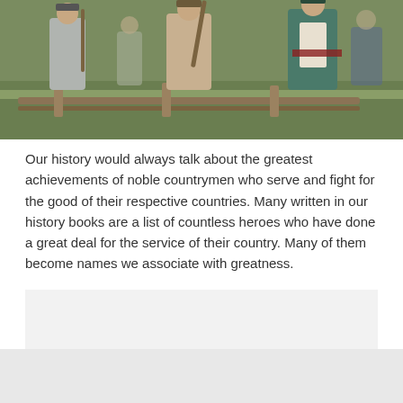[Figure (photo): Historical reenactment photo showing soldiers in colonial/revolutionary war era uniforms with muskets, standing on a green field. Figures in gray and blue-green uniforms visible.]
Our history would always talk about the greatest achievements of noble countrymen who serve and fight for the good of their respective countries. Many written in our history books are a list of countless heroes who have done a great deal for the service of their country. Many of them become names we associate with greatness.